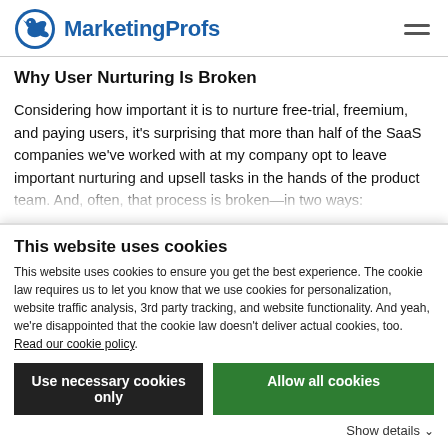MarketingProfs
Why User Nurturing Is Broken
Considering how important it is to nurture free-trial, freemium, and paying users, it's surprising that more than half of the SaaS companies we've worked with at my company opt to leave important nurturing and upsell tasks in the hands of the product team. And, often, that process is broken—in two ways:
This website uses cookies
This website uses cookies to ensure you get the best experience. The cookie law requires us to let you know that we use cookies for personalization, website traffic analysis, 3rd party tracking, and website functionality. And yeah, we're disappointed that the cookie law doesn't deliver actual cookies, too. Read our cookie policy.
Use necessary cookies only
Allow all cookies
Show details